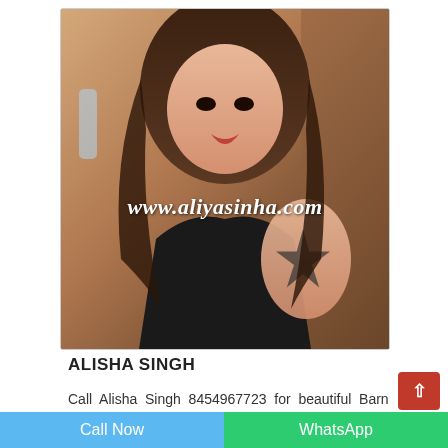[Figure (photo): Portrait photo of a young woman with long dark hair, wearing a black top, with a tattoo on her arm. Watermark text 'www.aliyasinha.com' overlaid on the image.]
ALISHA SINGH
Call Alisha Singh 8454967723 for beautiful Barn
Call Now | WhatsApp